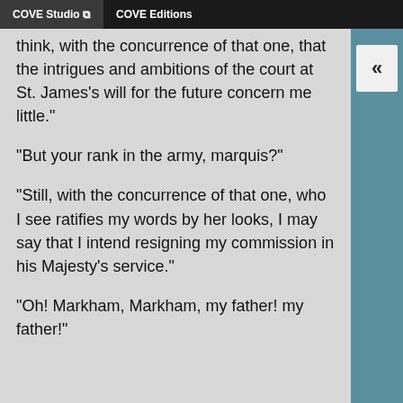COVE Studio | COVE Editions
think, with the concurrence of that one, that the intrigues and ambitions of the court at St. James's will for the future concern me little."
"But your rank in the army, marquis?"
"Still, with the concurrence of that one, who I see ratifies my words by her looks, I may say that I intend resigning my commission in his Majesty's service."
"Oh! Markham, Markham, my father! my father!"